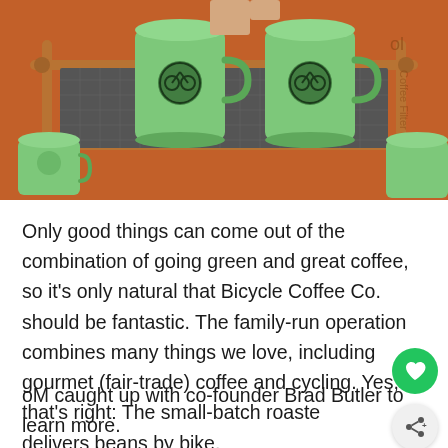[Figure (photo): Photo of green coffee mugs with a bicycle logo on a metal tray rack, with an orange wall in the background and a person's hands visible.]
Only good things can come out of the combination of going green and great coffee, so it's only natural that Bicycle Coffee Co. should be fantastic. The family-run operation combines many things we love, including gourmet (fair-trade) coffee and cycling. Yes, that's right: The small-batch roaster delivers beans by bike.
oM caught up with co-founder Brad Butler to learn more.